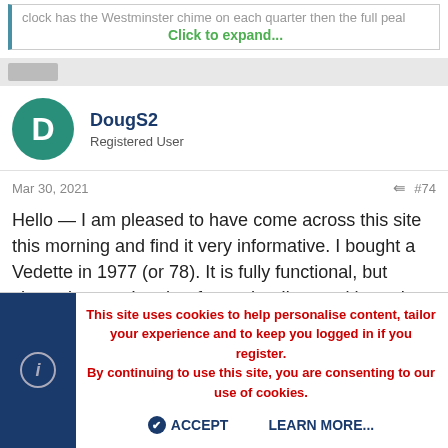clock has the Westminster chime on each quarter then the full peal
Click to expand...
DougS2
Registered User
Mar 30, 2021
#74
Hello — I am pleased to have come across this site this morning and find it very informative. I bought a Vedette in 1977 (or 78). It is fully functional, but shows its age. I gather from what I've read here that it is post 1931. I have not seen other pictures showing the square face. It has 10 bars and chimes
This site uses cookies to help personalise content, tailor your experience and to keep you logged in if you register.
By continuing to use this site, you are consenting to our use of cookies.
ACCEPT
LEARN MORE...